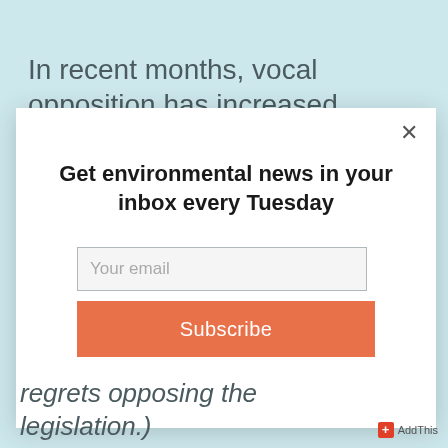In recent months, vocal opposition has increased against the wind project.
Get environmental news in your inbox every Tuesday
Your email
Subscribe
regrets opposing the legislation.)